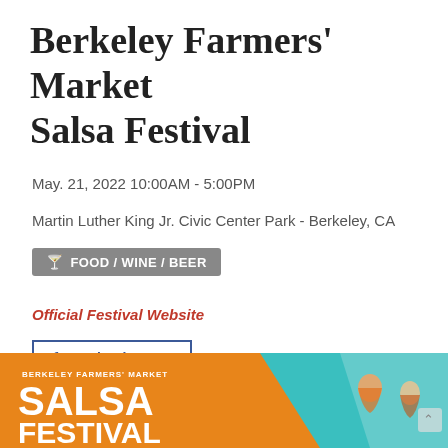Berkeley Farmers' Market Salsa Festival
May. 21, 2022 10:00AM - 5:00PM
Martin Luther King Jr. Civic Center Park - Berkeley, CA
🍸 FOOD / WINE / BEER
Official Festival Website
f  Facebook Event
📅 Add to Calendar ∨
[Figure (photo): Promotional banner for Berkeley Farmers' Market Salsa Festival with orange and teal background and white bold text reading BERKELEY FARMERS' MARKET SALSA FESTIVAL, with illustrated figures on the right side]